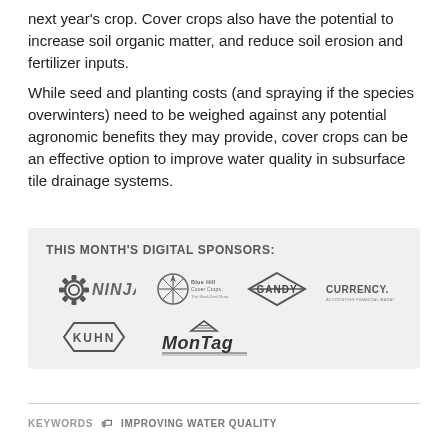next year's crop. Cover crops also have the potential to increase soil organic matter, and reduce soil erosion and fertilizer inputs.
While seed and planting costs (and spraying if the species overwinters) need to be weighed against any potential agronomic benefits they may provide, cover crops can be an effective option to improve water quality in subsurface tile drainage systems.
[Figure (logo): THIS MONTH'S DIGITAL SPONSORS box containing logos: NINJA, Blue Hill Cover Crops, GANDY, CURRENCY, KUHN, MonTag]
KEYWORDS  🏷 IMPROVING WATER QUALITY